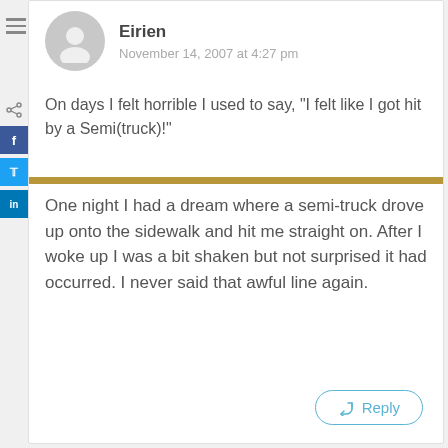Eirien
November 14, 2007 at 4:27 pm
On days I felt horrible I used to say, "I felt like I got hit by a Semi(truck)!"
One night I had a dream where a semi-truck drove up onto the sidewalk and hit me straight on. After I woke up I was a bit shaken but not surprised it had occurred. I never said that awful line again.